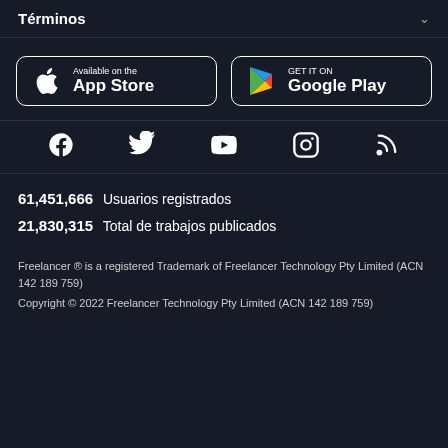Términos
[Figure (logo): Available on the App Store button]
[Figure (logo): GET IT ON Google Play button]
[Figure (infographic): Social media icons: Facebook, Twitter, YouTube, Instagram, RSS feed]
61,451,666  Usuarios registrados
21,830,315  Total de trabajos publicados
Freelancer ® is a registered Trademark of Freelancer Technology Pty Limited (ACN 142 189 759)
Copyright © 2022 Freelancer Technology Pty Limited (ACN 142 189 759)